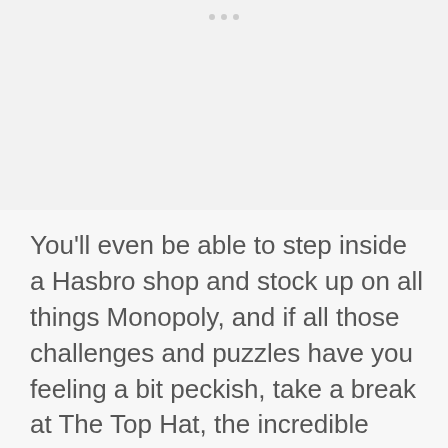[Figure (photo): Placeholder image area with three navigation dots at the top center, light gray background]
You'll even be able to step inside a Hasbro shop and stock up on all things Monopoly, and if all those challenges and puzzles have you feeling a bit peckish, take a break at The Top Hat, the incredible Monopoly-themed bar and restaurant.